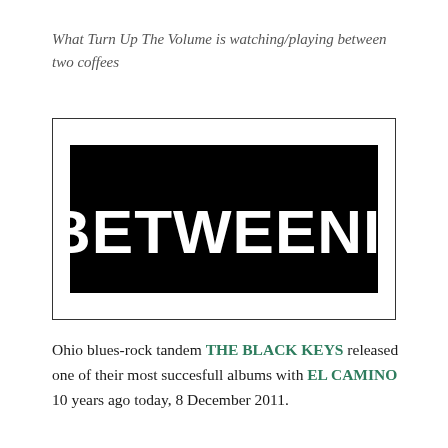What Turn Up The Volume is watching/playing between two coffees
[Figure (logo): INBETWEENIES logo: white bold serif text on black background, inside a thin black-bordered rectangle]
Ohio blues-rock tandem THE BLACK KEYS released one of their most succesfull albums with EL CAMINO 10 years ago today, 8 December 2011.